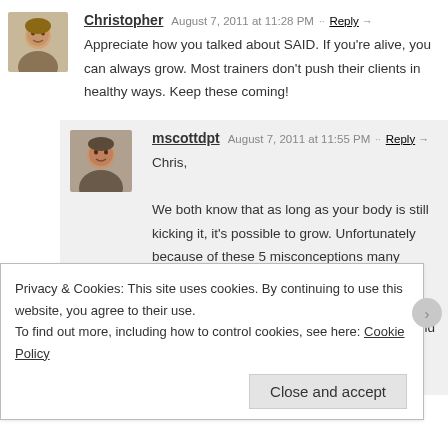Christopher   August 7, 2011 at 11:28 PM  Reply
Appreciate how you talked about SAID. If you're alive, you can always grow. Most trainers don't push their clients in healthy ways. Keep these coming!
mscottdpt   August 7, 2011 at 11:55 PM  Reply
Chris,
We both know that as long as your body is still kicking it, it's possible to grow. Unfortunately because of these 5 misconceptions many practitioners are hesitant to push their older clients. As long as we are safe and take their other medical history into account, there should be nothing stopping us from using advanced training and rehab
Privacy & Cookies: This site uses cookies. By continuing to use this website, you agree to their use.
To find out more, including how to control cookies, see here: Cookie Policy
Close and accept